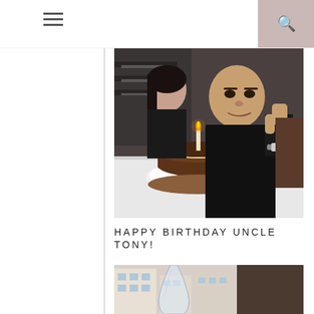Navigation bar with hamburger menu and search button
[Figure (photo): Two people dressed in black at a restaurant table with a chocolate birthday cake with a lit candle in the foreground. The man is giving a thumbs up. A white tablecloth is visible.]
HAPPY BIRTHDAY UNCLE TONY!
[Figure (photo): Partial view of a city street scene visible through a window, with a glass vase or vessel in the foreground and buildings in the background.]